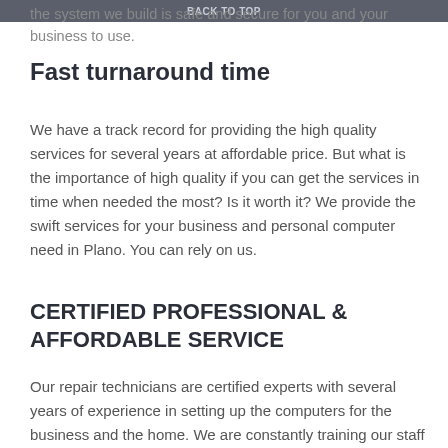BACK TO TOP
the system we build is safe and secure for you and your business to use.
Fast turnaround time
We have a track record for providing the high quality services for several years at affordable price. But what is the importance of high quality if you can get the services in time when needed the most? Is it worth it? We provide the swift services for your business and personal computer need in Plano. You can rely on us.
CERTIFIED PROFESSIONAL & AFFORDABLE SERVICE
Our repair technicians are certified experts with several years of experience in setting up the computers for the business and the home. We are constantly training our staff on new technology to meet the current need of the